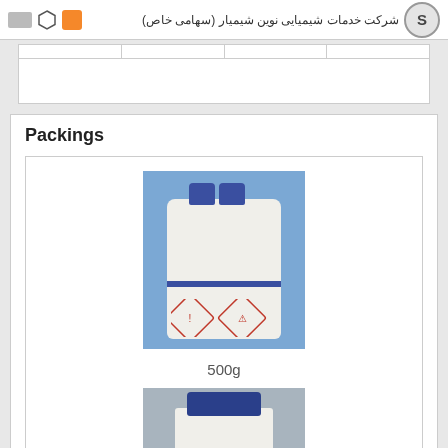شرکت خدمات شیمیایی نوین شیمیار (سهامی خاص)
Packings
[Figure (photo): White plastic chemical reagent bottle with blue cap and GHS hazard diamond labels, 500g size]
500g
[Figure (photo): White plastic chemical reagent bottle with blue cap, partially visible at bottom of page]